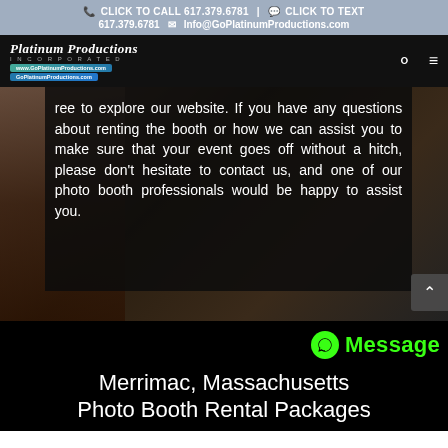CLICK TO CALL 617.379.6781 | CLICK TO TEXT 617.379.6781  Info@GoPlatinumProductions.com
[Figure (logo): Platinum Productions Incorporated logo with stylized italic text and colored badges on black navigation bar]
free to explore our website. If you have any questions about renting the booth or how we can assist you to make sure that your event goes off without a hitch, please don't hesitate to contact us, and one of our photo booth professionals would be happy to assist you.
Merrimac, Massachusetts Photo Booth Rental Packages